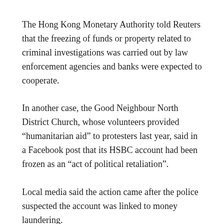The Hong Kong Monetary Authority told Reuters that the freezing of funds or property related to criminal investigations was carried out by law enforcement agencies and banks were expected to cooperate.
In another case, the Good Neighbour North District Church, whose volunteers provided “humanitarian aid” to protesters last year, said in a Facebook post that its HSBC account had been frozen as an “act of political retaliation”.
Local media said the action came after the police suspected the account was linked to money laundering.